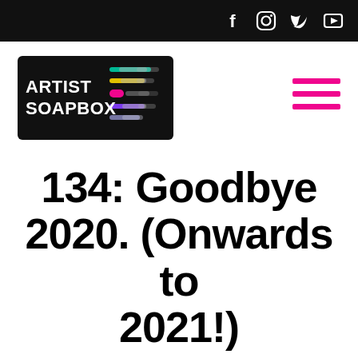Artist Soapbox - social icons: Facebook, Instagram, Twitter, YouTube
[Figure (logo): Artist Soapbox logo with colorful horizontal lines on black background]
134: Goodbye 2020. (Onwards to 2021!)
December 7, 2020